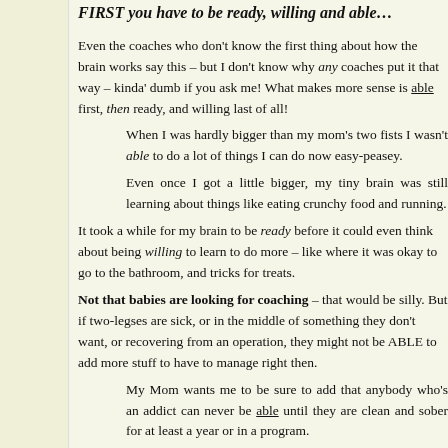FIRST you have to be ready, willing and able…
Even the coaches who don't know the first thing about how the brain works say this – but I don't know why any coaches put it that way – kinda' dumb if you ask me! What makes more sense is able first, then ready, and willing last of all!
When I was hardly bigger than my mom's two fists I wasn't able to do a lot of things I can do now easy-peasey.
Even once I got a little bigger, my tiny brain was still learning about things like eating crunchy food and running.
It took a while for my brain to be ready before it could even think about being willing to learn to do more – like where it was okay to go to the bathroom, and tricks for treats.
Not that babies are looking for coaching – that would be silly. But if two-legses are sick, or in the middle of something they don't want, or recovering from an operation, they might not be ABLE to add more stuff to have to manage right then.
My Mom wants me to be sure to add that anybody who's an addict can never be able until they are clean and sober for at least a year or in a program.
She says that first they have to be available for change, with a m…